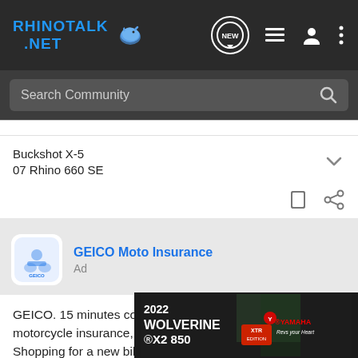RHINOTALK .NET — navigation bar with logo, NEW chat button, list icon, user icon, more icon
Search Community
Buckshot X-5
07 Rhino 660 SE
GEICO Moto Insurance
Ad
GEICO. 15 minutes could save you 15% or more on motorcycle insurance, too.
Shopping for a new bike? You could get a shiny, new quote & see how
[Figure (screenshot): 2022 Wolverine X2 850 XTR Edition Yamaha advertisement banner]